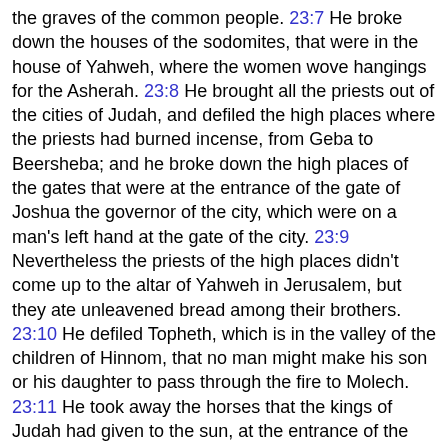the graves of the common people. 23:7 He broke down the houses of the sodomites, that were in the house of Yahweh, where the women wove hangings for the Asherah. 23:8 He brought all the priests out of the cities of Judah, and defiled the high places where the priests had burned incense, from Geba to Beersheba; and he broke down the high places of the gates that were at the entrance of the gate of Joshua the governor of the city, which were on a man's left hand at the gate of the city. 23:9 Nevertheless the priests of the high places didn't come up to the altar of Yahweh in Jerusalem, but they ate unleavened bread among their brothers. 23:10 He defiled Topheth, which is in the valley of the children of Hinnom, that no man might make his son or his daughter to pass through the fire to Molech. 23:11 He took away the horses that the kings of Judah had given to the sun, at the entrance of the house of Yahweh, by the room of Nathan Melech the officer, who was in the court; and he burned the chariots of the sun with fire. 23:12 The king broke down the altars that were on the roof of the upper room of Ahaz, which the kings of Judah had made, and the altars which Manasseh had made in the two courts of the house of Yahweh, and beat them down from there, and cast their dust into the brook Kidron. 23:13 The the king defiled the high places that were before Jerusalem, which were on